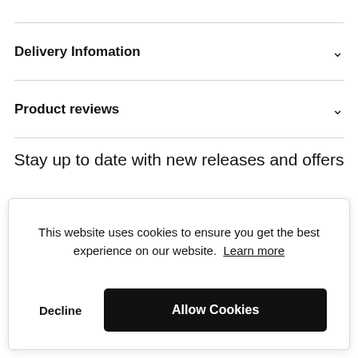Delivery Infomation
Product reviews
Stay up to date with new releases and offers
This website uses cookies to ensure you get the best experience on our website. Learn more
Decline
Allow Cookies